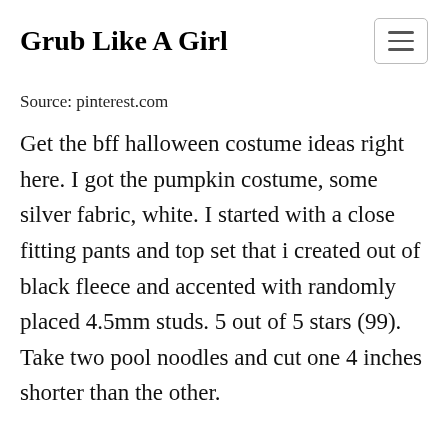Grub Like A Girl
Source: pinterest.com
Get the bff halloween costume ideas right here. I got the pumpkin costume, some silver fabric, white. I started with a close fitting pants and top set that i created out of black fleece and accented with randomly placed 4.5mm studs. 5 out of 5 stars (99). Take two pool noodles and cut one 4 inches shorter than the other.